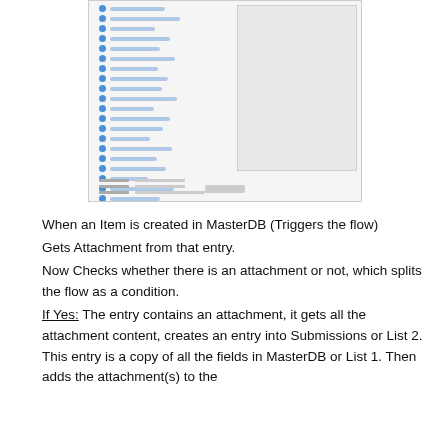[Figure (screenshot): Screenshot of a software interface showing a list/form view with a left panel containing rows of items with blue dot icons and labels, and a right panel showing a gray empty area, with form fields at the bottom.]
When an Item is created in MasterDB (Triggers the flow)
Gets Attachment from that entry.
Now Checks whether there is an attachment or not, which splits the flow as a condition.
If Yes: The entry contains an attachment, it gets all the attachment content, creates an entry into Submissions or List 2. This entry is a copy of all the fields in MasterDB or List 1. Then adds the attachment(s) to the